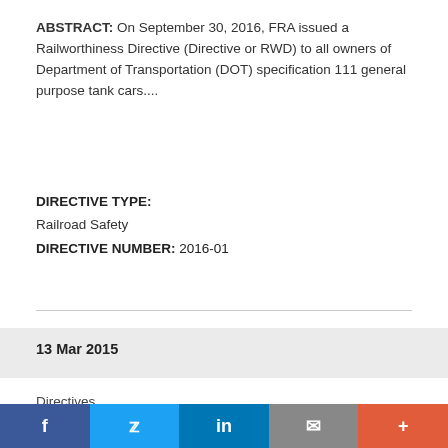ABSTRACT: On September 30, 2016, FRA issued a Railworthiness Directive (Directive or RWD) to all owners of Department of Transportation (DOT) specification 111 general purpose tank cars....
DIRECTIVE TYPE:
Railroad Safety
DIRECTIVE NUMBER: 2016-01
13 Mar 2015
Directives
Railworthiness Directive for Railroad Tank Cars Equipped With Certain McKenzie Valve & Machining LLC Valves